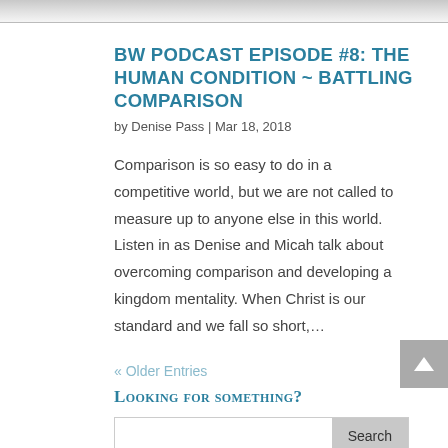[Figure (photo): Top cropped image strip, partially visible at top of page]
BW PODCAST EPISODE #8: THE HUMAN CONDITION ~ BATTLING COMPARISON
by Denise Pass | Mar 18, 2018
Comparison is so easy to do in a competitive world, but we are not called to measure up to anyone else in this world. Listen in as Denise and Micah talk about overcoming comparison and developing a kingdom mentality. When Christ is our standard and we fall so short,...
« Older Entries
Looking for something?
Search